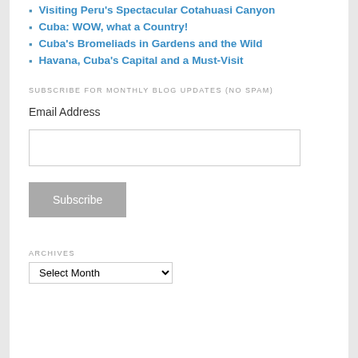Visiting Peru's Spectacular Cotahuasi Canyon
Cuba: WOW, what a Country!
Cuba's Bromeliads in Gardens and the Wild
Havana, Cuba's Capital and a Must-Visit
SUBSCRIBE FOR MONTHLY BLOG UPDATES (NO SPAM)
Email Address
ARCHIVES
Select Month